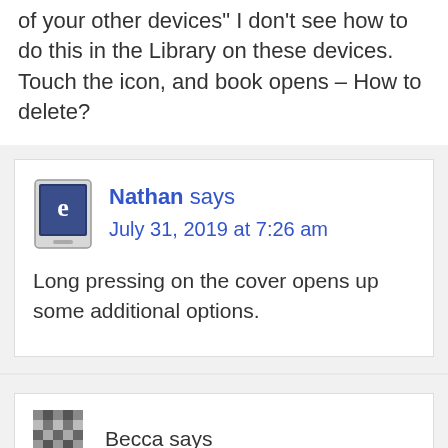“All you have to do is delete the book from one of your other devices” I don’t see how to do this in the Library on these devices. Touch the icon, and book opens – How to delete?
Nathan says
July 31, 2019 at 7:26 am
Long pressing on the cover opens up some additional options.
Becca says